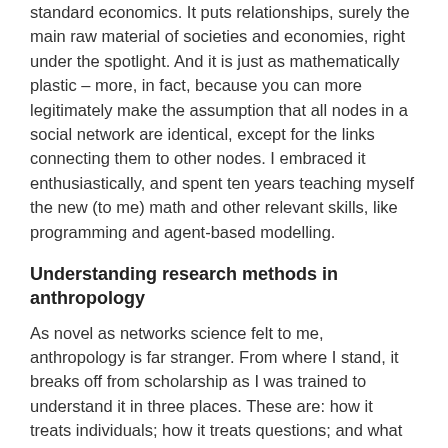standard economics. It puts relationships, surely the main raw material of societies and economies, right under the spotlight. And it is just as mathematically plastic – more, in fact, because you can more legitimately make the assumption that all nodes in a social network are identical, except for the links connecting them to other nodes. I embraced it enthusiastically, and spent ten years teaching myself the new (to me) math and other relevant skills, like programming and agent-based modelling.
Understanding research methods in anthropology
As novel as networks science felt to me, anthropology is far stranger. From where I stand, it breaks off from scholarship as I was trained to understand it in three places. These are: how it treats individuals; how it treats questions; and what counts as legitimate answers.